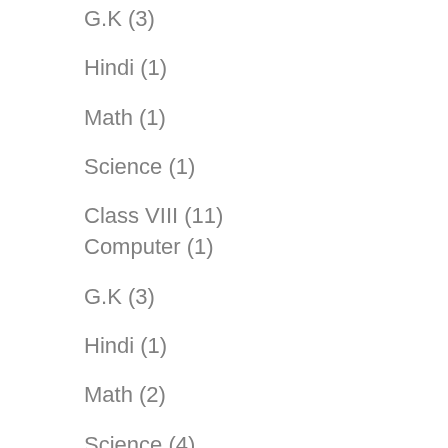G.K (3)
Hindi (1)
Math (1)
Science (1)
Class VIII (11)
Computer (1)
G.K (3)
Hindi (1)
Math (2)
Science (4)
Class X (7)
English (2)